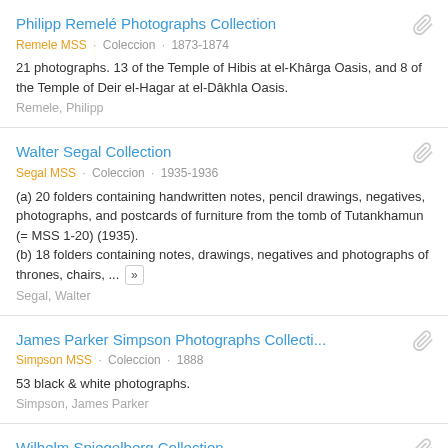Philipp Remelé Photographs Collection
Remele MSS · Coleccion · 1873-1874
21 photographs. 13 of the Temple of Hibis at el-Khârga Oasis, and 8 of the Temple of Deir el-Hagar at el-Dâkhla Oasis.
Remele, Philipp
Walter Segal Collection
Segal MSS · Coleccion · 1935-1936
(a) 20 folders containing handwritten notes, pencil drawings, negatives, photographs, and postcards of furniture from the tomb of Tutankhamun (= MSS 1-20) (1935). (b) 18 folders containing notes, drawings, negatives and photographs of thrones, chairs, ... »
Segal, Walter
James Parker Simpson Photographs Collecti...
Simpson MSS · Coleccion · 1888
53 black & white photographs.
Simpson, James Parker
Wilhelm Spiegelberg Collection
Spiegelberg MSS · Coleccion · 1895-1899